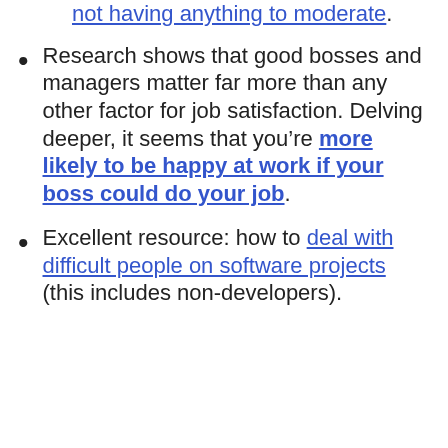not having anything to moderate.
Research shows that good bosses and managers matter far more than any other factor for job satisfaction. Delving deeper, it seems that you’re more likely to be happy at work if your boss could do your job.
Excellent resource: how to deal with difficult people on software projects (this includes non-developers).